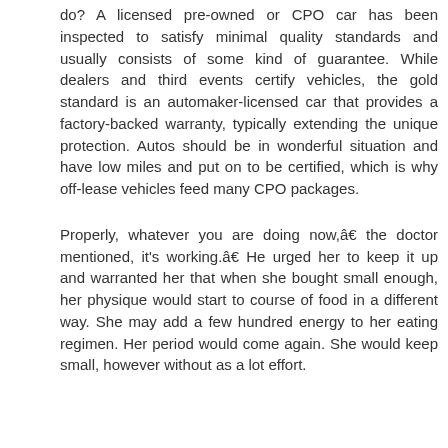do? A licensed pre-owned or CPO car has been inspected to satisfy minimal quality standards and usually consists of some kind of guarantee. While dealers and third events certify vehicles, the gold standard is an automaker-licensed car that provides a factory-backed warranty, typically extending the unique protection. Autos should be in wonderful situation and have low miles and put on to be certified, which is why off-lease vehicles feed many CPO packages.
Properly, whatever you are doing now,â€ the doctor mentioned, it's working.â€ He urged her to keep it up and warranted her that when she bought small enough, her physique would start to course of food in a different way. She may add a few hundred energy to her eating regimen. Her period would come again. She would keep small, however without as a lot effort.